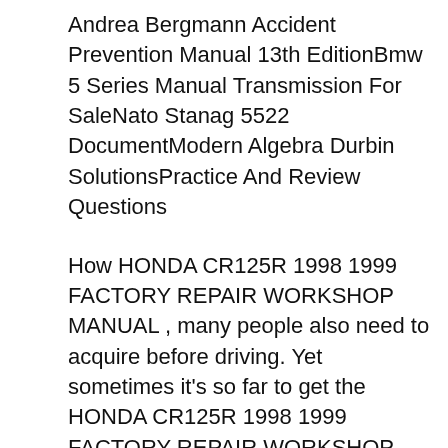Andrea Bergmann Accident Prevention Manual 13th EditionBmw 5 Series Manual Transmission For SaleNato Stanag 5522 DocumentModern Algebra Durbin SolutionsPractice And Review Questions
How HONDA CR125R 1998 1999 FACTORY REPAIR WORKSHOP MANUAL , many people also need to acquire before driving. Yet sometimes it's so far to get the HONDA CR125R 1998 1999 FACTORY REPAIR WORKSHOP MANUAL book, also in various other countries or cities. So, to help you locate HONDA CR125R 1998 1999 FACTORY REPAIR WORKSHOP MANUAL guides that will Plug Motorcycle Honda CR125R 2006